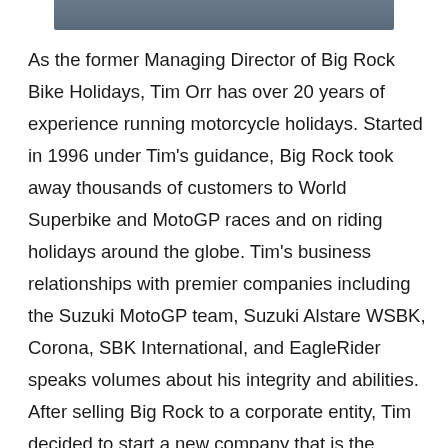[Figure (photo): Partial photo of a person visible at the top of the page, cropped]
As the former Managing Director of Big Rock Bike Holidays, Tim Orr has over 20 years of experience running motorcycle holidays. Started in 1996 under Tim's guidance, Big Rock took away thousands of customers to World Superbike and MotoGP races and on riding holidays around the globe. Tim's business relationships with premier companies including the Suzuki MotoGP team, Suzuki Alstare WSBK, Corona, SBK International, and EagleRider speaks volumes about his integrity and abilities. After selling Big Rock to a corporate entity, Tim decided to start a new company that is the culmination of everything he's learned on the roads and racing paddocks around the world. So after a short break (because who doesn't deserve a vacation after 15